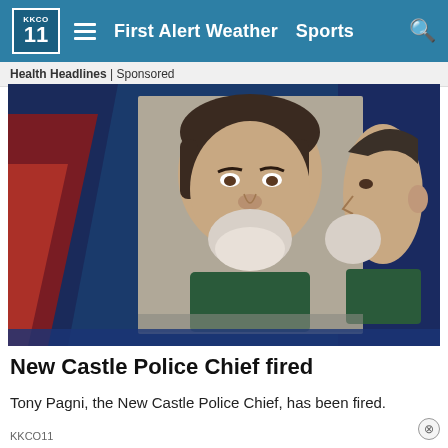KKCO 11 — First Alert Weather  Sports
Health Headlines | Sponsored
[Figure (photo): Mug shot showing two views (front and side profile) of a middle-aged man with dark hair graying at sides and a white/gray beard, wearing a dark green shirt, against a gray background. The image is displayed with a blue/red geometric branded graphic overlay on the left side with a KKCO 11 news banner design.]
New Castle Police Chief fired
Tony Pagni, the New Castle Police Chief, has been fired.
KKCO11